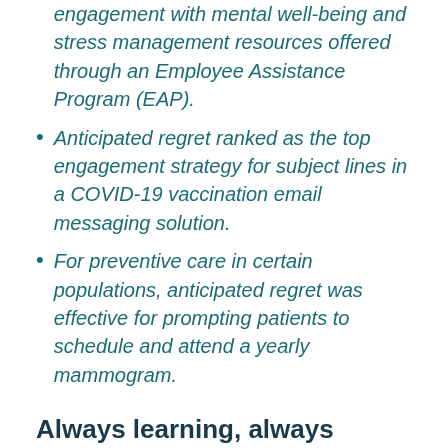engagement with mental well-being and stress management resources offered through an Employee Assistance Program (EAP).
Anticipated regret ranked as the top engagement strategy for subject lines in a COVID-19 vaccination email messaging solution.
For preventive care in certain populations, anticipated regret was effective for prompting patients to schedule and attend a yearly mammogram.
Always learning, always individualizing
The key thing to remember? Every person is different. While anticipated regret may prompt